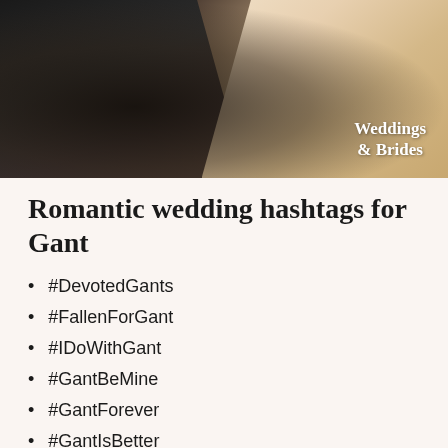[Figure (photo): Wedding couple photo with groom in dark suit and bride in beige/cream dress, with 'Weddings & Brides' branding overlay in bottom right corner]
Romantic wedding hashtags for Gant
#DevotedGants
#FallenForGant
#IDoWithGant
#GantBeMine
#GantForever
#GantIsBetter
#GantsInLove
#NeverLeavingGant